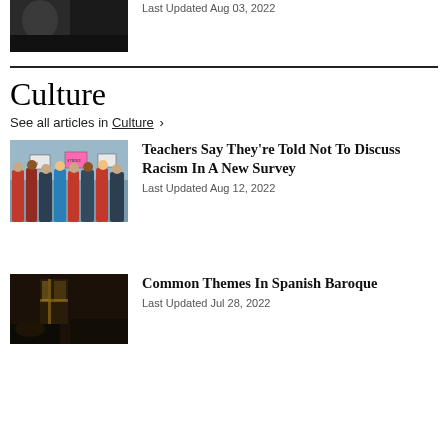[Figure (photo): Dark photo partially visible at top]
Last Updated Aug 03, 2022
Culture
See all articles in Culture >
[Figure (photo): Photo of teachers on strike holding signs]
Teachers Say They're Told Not To Discuss Racism In A New Survey
Last Updated Aug 12, 2022
[Figure (photo): Dark photo of a baroque-style interior scene]
Common Themes In Spanish Baroque
Last Updated Jul 28, 2022